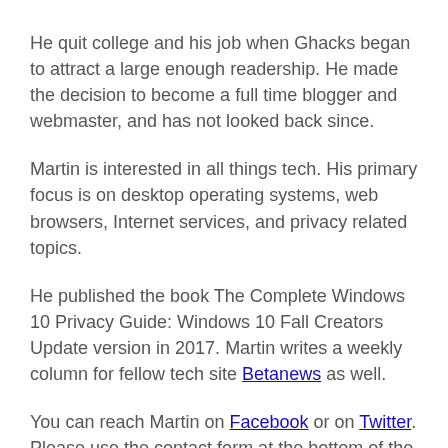He quit college and his job when Ghacks began to attract a large enough readership. He made the decision to become a full time blogger and webmaster, and has not looked back since.
Martin is interested in all things tech. His primary focus is on desktop operating systems, web browsers, Internet services, and privacy related topics.
He published the book The Complete Windows 10 Privacy Guide: Windows 10 Fall Creators Update version in 2017. Martin writes a weekly column for fellow tech site Betanews as well.
You can reach Martin on Facebook or on Twitter. Please use the contact form at the bottom of the page to contact the author directly.